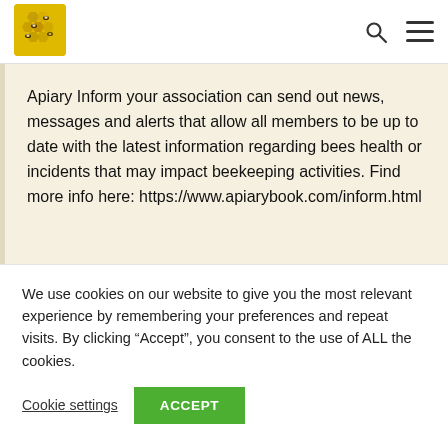[Figure (logo): Apiary book logo — yellow/gold image of bees on honeycomb, square with rounded corners]
Apiary Inform your association can send out news, messages and alerts that allow all members to be up to date with the latest information regarding bees health or incidents that may impact beekeeping activities. Find more info here: https://www.apiarybook.com/inform.html
We use cookies on our website to give you the most relevant experience by remembering your preferences and repeat visits. By clicking “Accept”, you consent to the use of ALL the cookies.
Cookie settings
ACCEPT